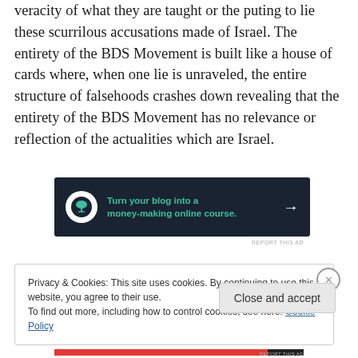veracity of what they are taught or the puting to lie these scurrilous accusations made of Israel. The entirety of the BDS Movement is built like a house of cards where, when one lie is unraveled, the entire structure of falsehoods crashes down revealing that the entirety of the BDS Movement has no relevance or reflection of the actualities which are Israel.
[Figure (infographic): Dark navy advertisement banner: circular white icon with a bonsai tree, green bold text 'Turn your blog into a money-making online course.' with a white arrow on the right.]
REPORT THIS AD
Privacy & Cookies: This site uses cookies. By continuing to use this website, you agree to their use.
To find out more, including how to control cookies, see here: Cookie Policy
Close and accept